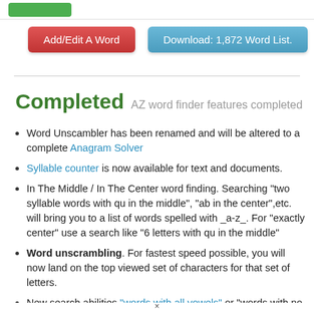[Figure (other): Green button partially visible at top left]
Add/Edit A Word
Download: 1,872 Word List.
Completed  AZ word finder features completed
Word Unscambler has been renamed and will be altered to a complete Anagram Solver
Syllable counter is now available for text and documents.
In The Middle / In The Center word finding. Searching "two syllable words with qu in the middle", "ab in the center",etc. will bring you to a list of words spelled with _a-z_. For "exactly center" use a search like "6 letters with qu in the middle"
Word unscrambling. For fastest speed possible, you will now land on the top viewed set of characters for that set of letters.
New search abilities "words with all vowels" or "words with no